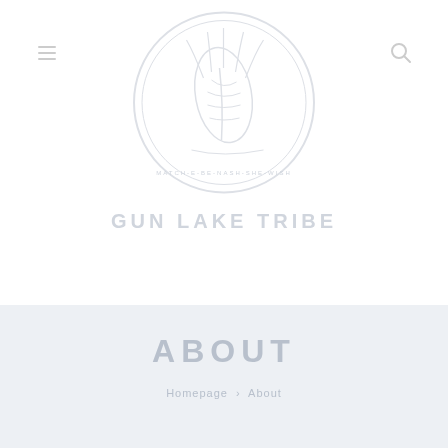GUN LAKE TRIBE
[Figure (logo): Gun Lake Tribe circular seal/logo with feather and tribal imagery, light gray watermark style]
ABOUT
Homepage > About
Hello, (Anonymous)
LOGIN
Contact Us
Our Heritage
Tribal Council
Committees